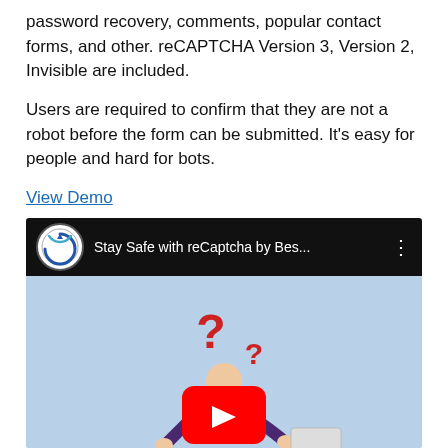password recovery, comments, popular contact forms, and other. reCAPTCHA Version 3, Version 2, Invisible are included.
Users are required to confirm that they are not a robot before the form can be submitted. It’s easy for people and hard for bots.
View Demo
[Figure (screenshot): YouTube video embed thumbnail titled 'Stay Safe with reCaptcha by Bes...' showing a cartoon person with question marks and a YouTube play button overlay on a light blue background.]